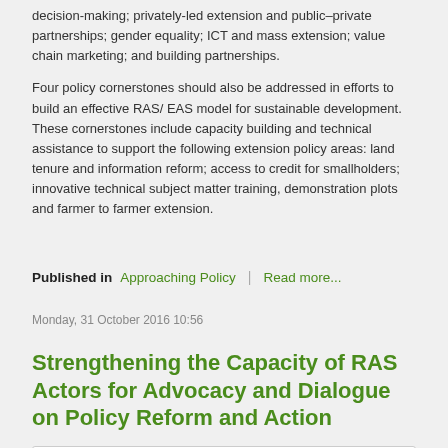decision-making; privately-led extension and public–private partnerships; gender equality; ICT and mass extension; value chain marketing; and building partnerships.
Four policy cornerstones should also be addressed in efforts to build an effective RAS/ EAS model for sustainable development. These cornerstones include capacity building and technical assistance to support the following extension policy areas: land tenure and information reform; access to credit for smallholders; innovative technical subject matter training, demonstration plots and farmer to farmer extension.
Published in  Approaching Policy  |  Read more...
Monday, 31 October 2016 10:56
Strengthening the Capacity of RAS Actors for Advocacy and Dialogue on Policy Reform and Action
Download here
1224 times downloaded